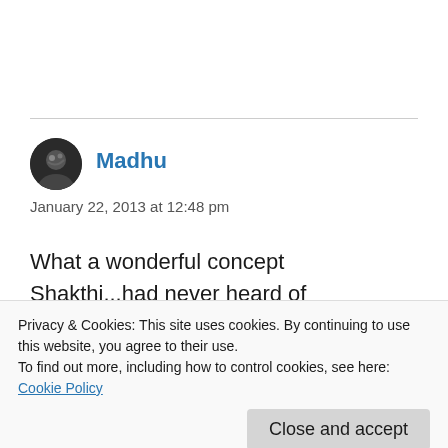[Figure (photo): Circular avatar photo of user Madhu, dark background with figure silhouette]
Madhu
January 22, 2013 at 12:48 pm
What a wonderful concept Shakthi...had never heard of Ho’Oponopono before! I have introspected, constantly, about these two tragedies too, and am convinced that the
Privacy & Cookies: This site uses cookies. By continuing to use this website, you agree to their use.
To find out more, including how to control cookies, see here:
Cookie Policy
Close and accept
behinds’ as you put it. And yes most